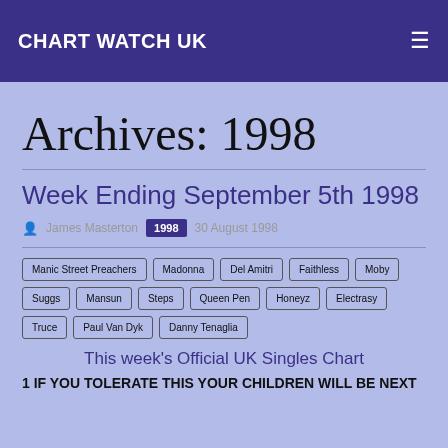CHART WATCH UK
Archives: 1998
Week Ending September 5th 1998
James Masterton  1998  30 August 1998
Manic Street Preachers
Madonna
Del Amitri
Faithless
Moby
Suggs
Mansun
Steps
Queen Pen
Honeyz
Electrasy
Truce
Paul Van Dyk
Danny Tenaglia
This week's Official UK Singles Chart
1 IF YOU TOLERATE THIS YOUR CHILDREN WILL BE NEXT